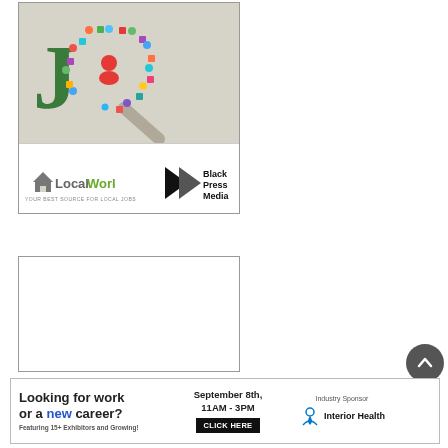[Figure (illustration): LocalWork.ca advertisement showing a magnifying glass made of social media icons with a large green 'J' letter, and the LocalWork.ca logo with tagline 'Your Best Source for Local Jobs' alongside Black Press Media logo]
[Figure (other): Blank white advertisement box with border]
[Figure (infographic): Banner advertisement: 'Looking for work or a new career? Featuring 15+ Exhibitors and Growing! September 8th, 11AM - 3PM CLICK HERE. Industry Sponsor: Interior Health']